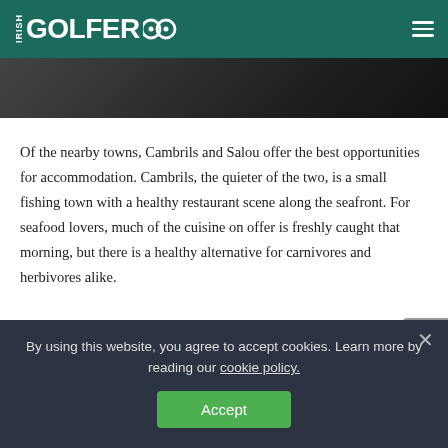IRISH GOLFER
[Figure (photo): Partial photo visible at top of article, dark background with person]
Of the nearby towns, Cambrils and Salou offer the best opportunities for accommodation. Cambrils, the quieter of the two, is a small fishing town with a healthy restaurant scene along the seafront. For seafood lovers, much of the cuisine on offer is freshly caught that morning, but there is a healthy alternative for carnivores and herbivores alike.
Salou is a much more vibrant option, where festivities carry on into the small hours and beyond. Again, there is
By using this website, you agree to accept cookies. Learn more by reading our cookie policy.